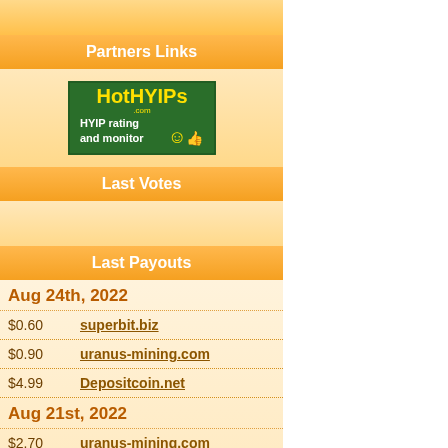Partners Links
[Figure (logo): HotHYIPs.com logo — HYIP rating and monitor, green background with yellow text and smiley emoji]
Last Votes
Last Payouts
Aug 24th, 2022
$0.60    superbit.biz
$0.90    uranus-mining.com
$4.99    Depositcoin.net
Aug 21st, 2022
$2.70    uranus-mining.com
$3.50    Bitcryptodeposit.com
$5.00    Depositcoin.net